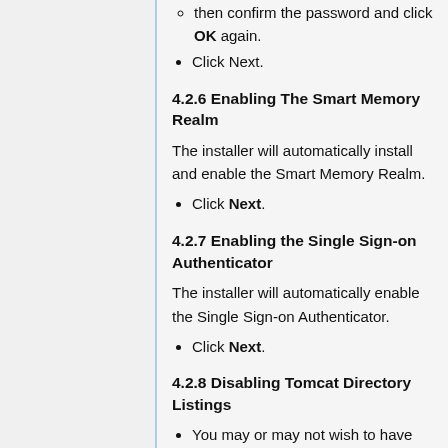then confirm the password and click OK again.
Click Next.
4.2.6 Enabling The Smart Memory Realm
The installer will automatically install and enable the Smart Memory Realm.
Click Next.
4.2.7 Enabling the Single Sign-on Authenticator
The installer will automatically enable the Single Sign-on Authenticator.
Click Next.
4.2.8 Disabling Tomcat Directory Listings
You may or may not wish to have Directory Listing enabled. If you don't